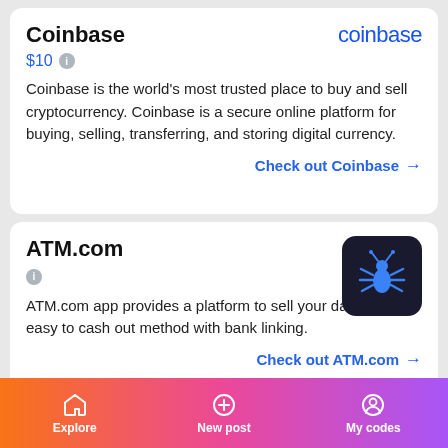Coinbase
[Figure (logo): Coinbase blue text logo]
$10 ℹ
Coinbase is the world's most trusted place to buy and sell cryptocurrency. Coinbase is a secure online platform for buying, selling, transferring, and storing digital currency.
Check out Coinbase →
ATM.com
[Figure (logo): ATM.com dark logo with blue bug/ant icon on black rounded square background]
ℹ
ATM.com app provides a platform to sell your data for an easy to cash out method with bank linking.
Check out ATM.com →
🎁 invite friends → earn rewards 🎁
Explore   New post   My codes